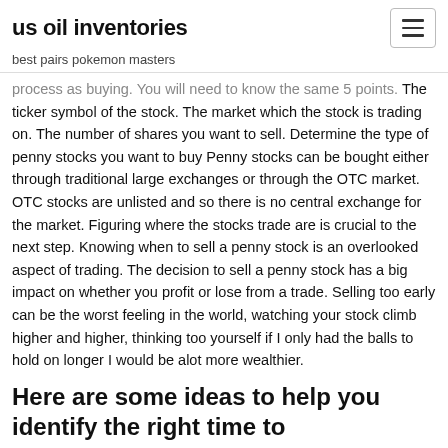us oil inventories
best pairs pokemon masters
process as buying. You will need to know the same 5 points. The ticker symbol of the stock. The market which the stock is trading on. The number of shares you want to sell. Determine the type of penny stocks you want to buy Penny stocks can be bought either through traditional large exchanges or through the OTC market. OTC stocks are unlisted and so there is no central exchange for the market. Figuring where the stocks trade are is crucial to the next step. Knowing when to sell a penny stock is an overlooked aspect of trading. The decision to sell a penny stock has a big impact on whether you profit or lose from a trade. Selling too early can be the worst feeling in the world, watching your stock climb higher and higher, thinking too yourself if I only had the balls to hold on longer I would be alot more wealthier.
Here are some ideas to help you identify the right time to